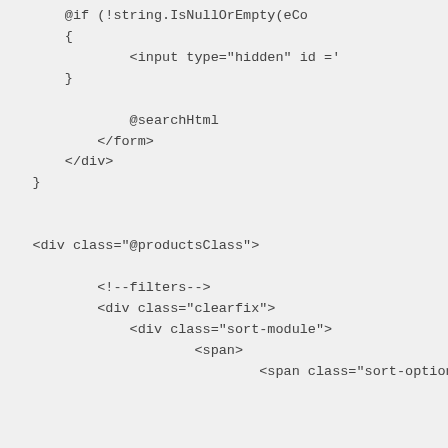@if (!string.IsNullOrEmpty(eCo
{
    <input type="hidden" id ='
}

    @searchHtml
    </form>
  </div>
}


<div class="@productsClass">

    <!--filters-->
    <div class="clearfix">
        <div class="sort-module">
            <span>
                <span class="sort-option":